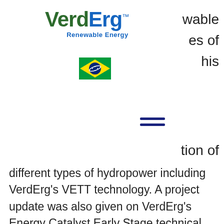[Figure (logo): VerdErg Renewable Energy logo with green 'Verd' and blue 'Erg' text and 'Renewable Energy' subtitle]
[Figure (illustration): Brazilian flag emoji/icon]
wable
es of
his
[Figure (other): Hamburger menu icon (three horizontal blue lines)]
tion of different types of hydropower including VerdErg's VETT technology. A project update was also given on VerdErg's Energy Catalyst Early Stage technical feasibility study and the latest research and design solutions on bi-directional VETT for tidal applications were showcased. The students particularly enjoyed presenting their ideas on the advantages of renewable energy, performing site location analysis using admiralty charts from tidal areas in the UK and doing the quiz on hydropower